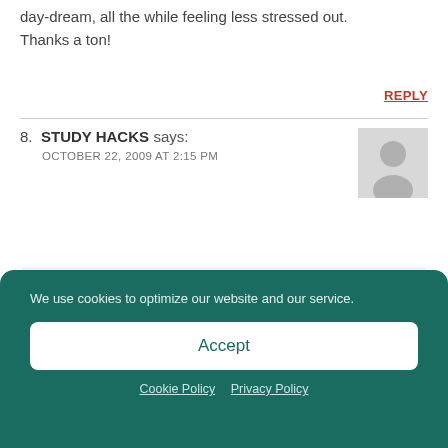day-dream, all the while feeling less stressed out. Thanks a ton!
REPLY
8. STUDY HACKS says:
OCTOBER 22, 2009 AT 2:15 PM
As of now, I'm juggling tests, homework, and time to day-dream, all the while feeling less stressed out. Thanks a ton!
We use cookies to optimize our website and our service.
Accept
Cookie Policy   Privacy Policy